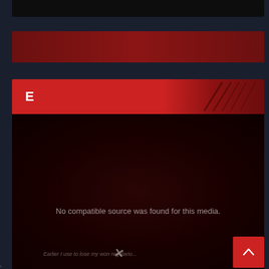[Figure (screenshot): Dark black banner strip at the top of the page]
[Figure (screenshot): Dark red gradient horizontal banner]
[Figure (screenshot): Main media player block with dark red background. Contains a red header bar with the letter E in white, diagonal slash marks decorating the upper right, and a large dark content area below showing an error message 'No compatible source was found for this media.' with a faint thumbnail image partially visible at the bottom. A scroll-to-top button with an upward arrow is visible in the lower right.]
No compatible source was found for this media.